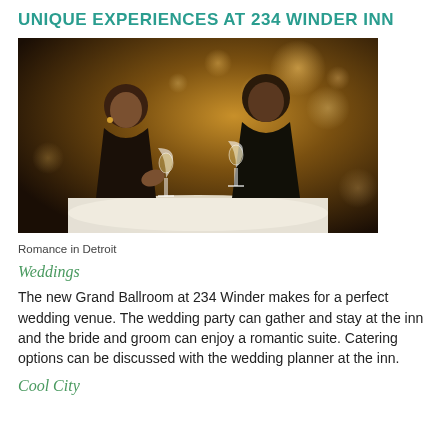UNIQUE EXPERIENCES AT 234 WINDER INN
[Figure (photo): A couple seated at an outdoor restaurant table at night, sharing wine glasses, with bokeh city lights in the background. The woman wears black and gestures expressively; the man in black listens attentively.]
Romance in Detroit
Weddings
The new Grand Ballroom at 234 Winder makes for a perfect wedding venue. The wedding party can gather and stay at the inn and the bride and groom can enjoy a romantic suite. Catering options can be discussed with the wedding planner at the inn.
Cool City